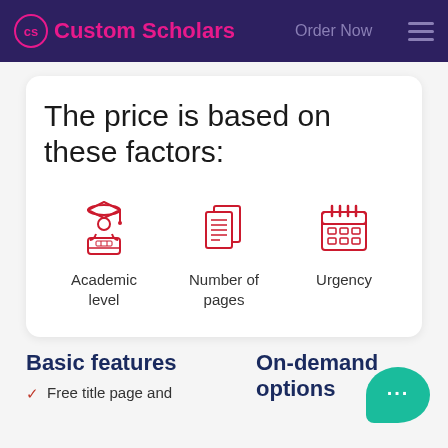Custom Scholars  Order Now
The price is based on these factors:
[Figure (illustration): Three red icons: Academic level (student with graduation cap), Number of pages (stacked documents), Urgency (calendar)]
Basic features
On-demand options
Free title page and